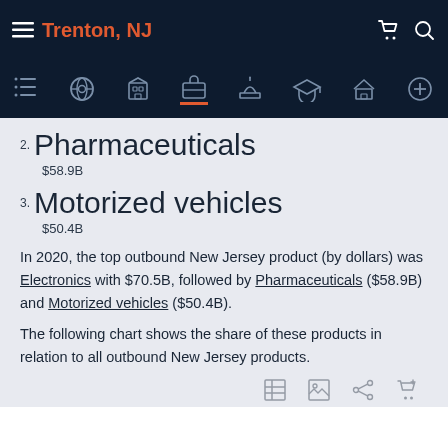Trenton, NJ
2. Pharmaceuticals
$58.9B
3. Motorized vehicles
$50.4B
In 2020, the top outbound New Jersey product (by dollars) was Electronics with $70.5B, followed by Pharmaceuticals ($58.9B) and Motorized vehicles ($50.4B).
The following chart shows the share of these products in relation to all outbound New Jersey products.